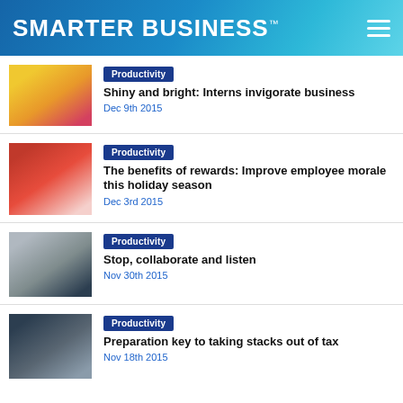SMARTER BUSINESS™
Productivity
Shiny and bright: Interns invigorate business
Dec 9th 2015
Productivity
The benefits of rewards: Improve employee morale this holiday season
Dec 3rd 2015
Productivity
Stop, collaborate and listen
Nov 30th 2015
Productivity
Preparation key to taking stacks out of tax
Nov 18th 2015